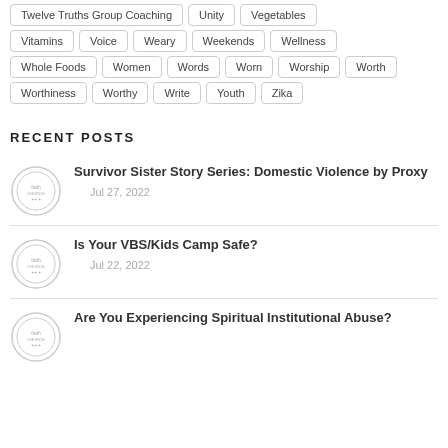Twelve Truths Group Coaching
Unity
Vegetables
Vitamins
Voice
Weary
Weekends
Wellness
Whole Foods
Women
Words
Worn
Worship
Worth
Worthiness
Worthy
Write
Youth
Zika
RECENT POSTS
Survivor Sister Story Series: Domestic Violence by Proxy
Jul 27, 2022
Is Your VBS/Kids Camp Safe?
Jul 22, 2022
Are You Experiencing Spiritual Institutional Abuse?